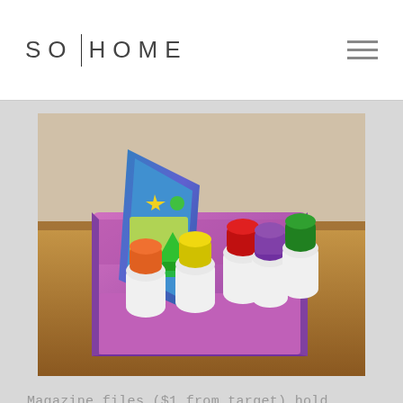SO|HOME
[Figure (photo): A purple plastic bin/magazine file holder containing small bottles of paint with colorful caps (orange, yellow, red, purple, green) and a 'Paint-by-Number Trim the Tree' activity book, sitting on a wooden table.]
Magazine files ($1 from target) hold colorful sheets of construction